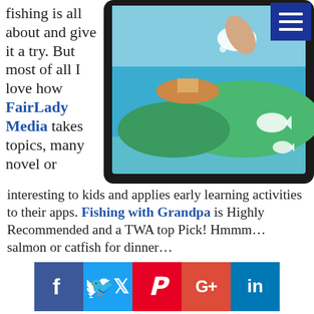fishing is all about and give it a try. But most of all I love how FairLady Media takes topics, many novel or interesting to kids and applies early learning activities to their apps. Fishing with Grandpa is Highly Recommended and a TWA top Pick! Hmmm… salmon or catfish for dinner…
[Figure (photo): Child's hand touching a tablet screen showing a fishing game app with colorful graphics of water, fish and a boat. The tablet is in a black protective case. A blue hamburger menu icon is visible in the top right corner.]
[Figure (infographic): Social media sharing buttons row: Facebook (blue), Twitter (light blue), Pinterest (red), Google+ (orange-red), LinkedIn (blue)]